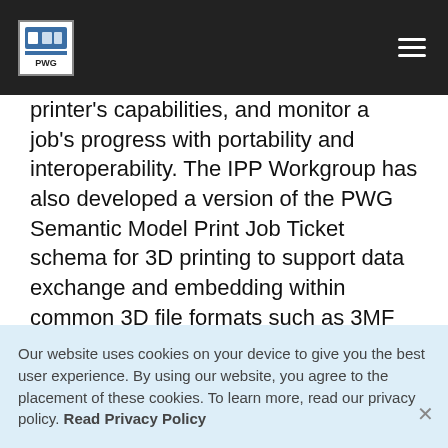PWG
printer's capabilities, and monitor a job's progress with portability and interoperability. The IPP Workgroup has also developed a version of the PWG Semantic Model Print Job Ticket schema for 3D printing to support data exchange and embedding within common 3D file formats such as 3MF and 3D PDF documents so
Our website uses cookies on your device to give you the best user experience. By using our website, you agree to the placement of these cookies. To learn more, read our privacy policy. Read Privacy Policy